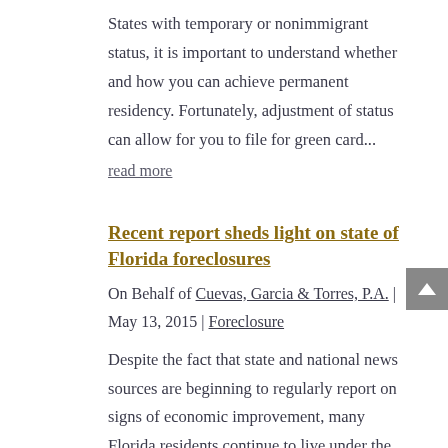States with temporary or nonimmigrant status, it is important to understand whether and how you can achieve permanent residency. Fortunately, adjustment of status can allow for you to file for green card...
read more
Recent report sheds light on state of Florida foreclosures
On Behalf of Cuevas, Garcia & Torres, P.A. | May 13, 2015 | Foreclosure
Despite the fact that state and national news sources are beginning to regularly report on signs of economic improvement, many Florida residents continue to live under the burden of debt. Countless